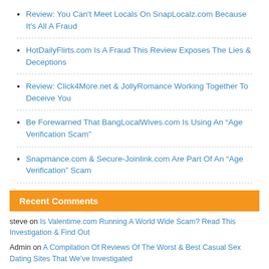Review: You Can't Meet Locals On SnapLocalz.com Because It's All A Fraud
HotDailyFlirts.com Is A Fraud This Review Exposes The Lies & Deceptions
Review: Click4More.net & JollyRomance Working Together To Deceive You
Be Forewarned That BangLocalWives.com Is Using An “Age Verification Scam”
Snapmance.com & Secure-Joinlink.com Are Part Of An “Age Verification” Scam
Recent Comments
steve on Is Valentime.com Running A World Wide Scam? Read This Investigation & Find Out
Admin on A Compilation Of Reviews Of The Worst & Best Casual Sex Dating Sites That We’ve Investigated
Ray Karl Hall / Kinetikindred TM on Dream-Singles.com Is Deceiving Lonely Western Men Into Spending Their Money